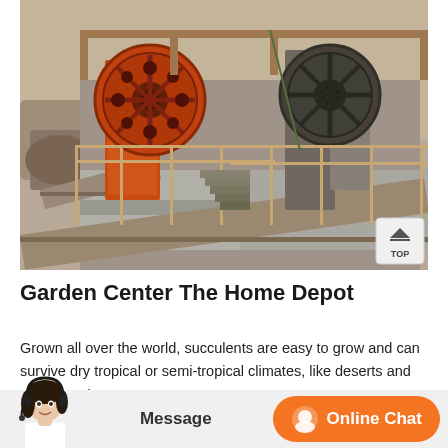[Figure (photo): Industrial stone crushing machinery with large orange flywheel and gray metal structure, installed in an open quarry or mining site with scaffolding and concrete platforms.]
Garden Center The Home Depot
Grown all over the world, succulents are easy to grow and can survive dry tropical or semi-tropical climates, like deserts and steppes. They can also thrive in semi-arid regions. Similarly, They are very easy to care...weeds. These benefits make for an easy to grow and very hardy
[Figure (photo): Customer service avatar - woman with headset]
Message
Online Chat